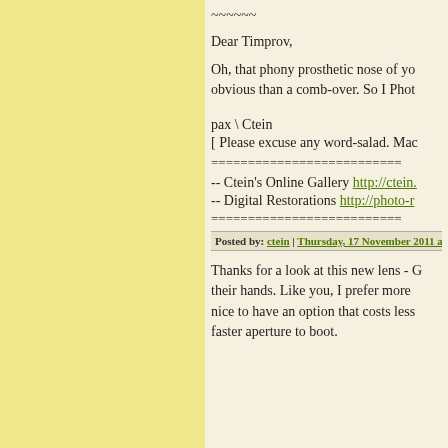~~~~~~
Dear Timprov,
Oh, that phony prosthetic nose of yo... obvious than a comb-over. So I Phot...
pax \ Ctein
[ Please excuse any word-salad. Mac...
=========================
-- Ctein's Online Gallery http://ctein...
-- Digital Restorations http://photo-r...
=========================
Posted by: ctein | Thursday, 17 November 2011 at 02:1...
Thanks for a look at this new lens - ... their hands. Like you, I prefer more ... nice to have an option that costs less... faster aperture to boot.